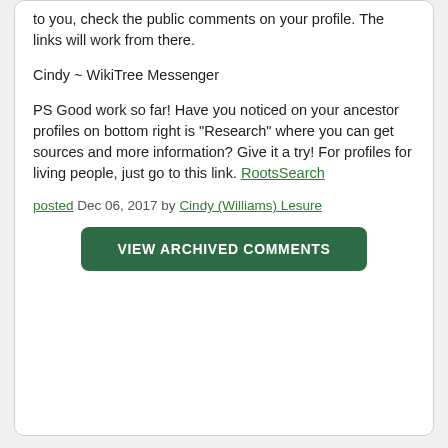to you, check the public comments on your profile. The links will work from there.
Cindy ~ WikiTree Messenger
PS Good work so far! Have you noticed on your ancestor profiles on bottom right is "Research" where you can get sources and more information? Give it a try! For profiles for living people, just go to this link. RootsSearch
posted Dec 06, 2017 by Cindy (Williams) Lesure
VIEW ARCHIVED COMMENTS